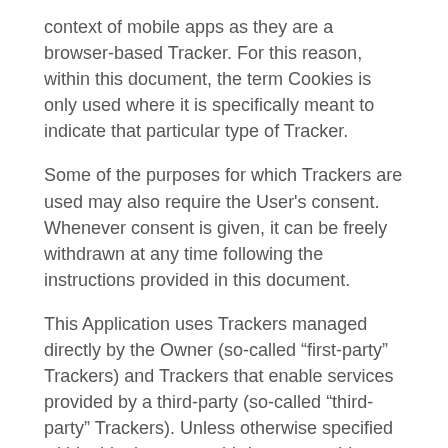context of mobile apps as they are a browser-based Tracker. For this reason, within this document, the term Cookies is only used where it is specifically meant to indicate that particular type of Tracker.
Some of the purposes for which Trackers are used may also require the User's consent. Whenever consent is given, it can be freely withdrawn at any time following the instructions provided in this document.
This Application uses Trackers managed directly by the Owner (so-called “first-party” Trackers) and Trackers that enable services provided by a third-party (so-called “third-party” Trackers). Unless otherwise specified within this document, third-party providers may access the Trackers managed by them.
The validity and expiration periods of Cookies and other similar Trackers may vary depending on the lifetime set by the Owner or the relevant provider. Some of them expire upon termination of the User’s browsing session.
In addition to what's specified in the descriptions within each of the categories below, Users may find more precise and updated